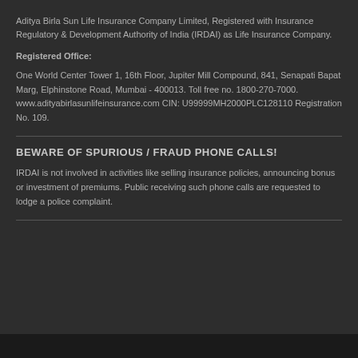Aditya Birla Sun Life Insurance Company Limited, Registered with Insurance Regulatory & Development Authority of India (IRDAI) as Life Insurance Company.
Registered Office:
One World Center Tower 1, 16th Floor, Jupiter Mill Compound, 841, Senapati Bapat Marg, Elphinstone Road, Mumbai - 400013. Toll free no. 1800-270-7000. www.adityabirlasunlifeinsurance.com CIN: U99999MH2000PLC128110 Registration No. 109.
BEWARE OF SPURIOUS / FRAUD PHONE CALLS!
IRDAI is not involved in activities like selling insurance policies, announcing bonus or investment of premiums. Public receiving such phone calls are requested to lodge a police complaint.